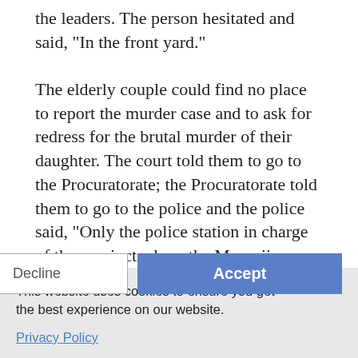the leaders. The person hesitated and said, "In the front yard."

The elderly couple could find no place to report the murder case and to ask for redress for the brutal murder of their daughter. The court told them to go to the Procuratorate; the Procuratorate told them to go to the police and the police said, "Only the police station in charge of the precinct where the Masanjia Forced Labour Camp is located can handle this case." In the chilling wind, the elderly couple rushed to the Shuguang Police Station in Liaoning Province's Prison City, where the Masanjia Forced Labour Camp is located. A police
This website uses cookies to ensure you get the best experience on our website.
Privacy Policy